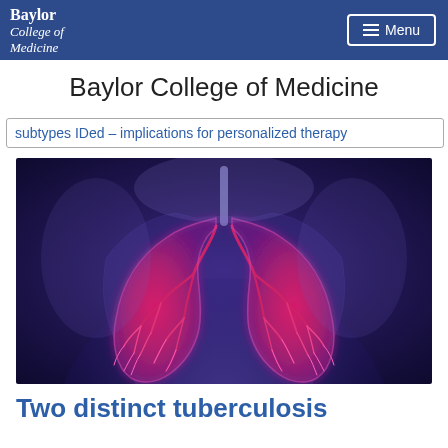Baylor College of Medicine [navigation bar with Menu button]
Baylor College of Medicine
subtypes IDed – implications for personalized therapy
[Figure (photo): Medical illustration of human lungs glowing in pink/red hues against a blue background, showing detailed bronchial tree structure inside the lungs]
Two distinct tuberculosis